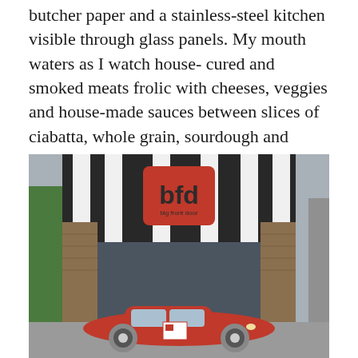butcher paper and a stainless-steel kitchen visible through glass panels. My mouth waters as I watch house-cured and smoked meats frolic with cheeses, veggies and house-made sauces between slices of ciabatta, whole grain, sourdough and more. 4135 Park Blvd.,619-255-4100, bfdsandiego.com
[Figure (photo): Exterior photo of BFD (Big Front Door) restaurant storefront with black and white striped facade, red BFD logo sign, brick pillars, large glass window panels, and a vintage red car parked in front.]